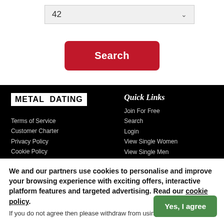[Figure (screenshot): Dropdown select box showing value 42 with down arrow]
[Figure (screenshot): Red Search button]
[Figure (logo): Metal Dating logo in white box with black bold text]
Terms of Service
Customer Charter
Privacy Policy
Cookie Policy
reCAPTCHA Privacy
reCAPTCHA Terms
Copyright © 2022
Quick Links
Join For Free
Search
Login
View Single Women
View Single Men
More Info
Contact Us
Blog
Find Us On Facebook
Local Dating
London
Manchester
Birmingham
We and our partners use cookies to personalise and improve your browsing experience with exciting offers, interactive platform features and targeted advertising. Read our cookie policy.
If you do not agree then please withdraw from using this site.